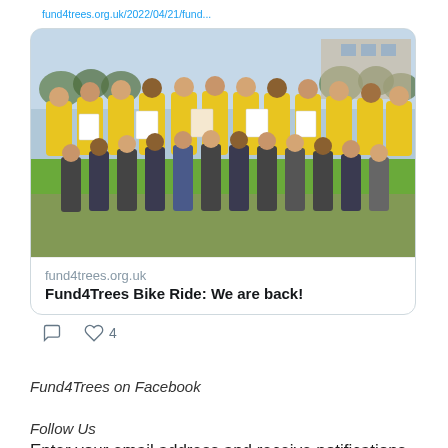fund4trees.org.uk/2022/04/21/fund...
[Figure (photo): Group photo of adults in yellow T-shirts and children in school uniforms, outdoors, holding papers and drawings]
fund4trees.org.uk
Fund4Trees Bike Ride: We are back!
♡ 4
Fund4Trees on Facebook
Follow Us
Enter your email address and receive notifications